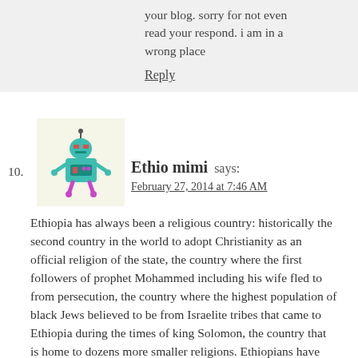your blog. sorry for not even read your respond. i am in a wrong place
Reply
[Figure (illustration): Avatar image of a cartoon robot character (teal/green colored robot with pink details) on a light yellow background]
10. Ethio mimi says: February 27, 2014 at 7:46 AM
Ethiopia has always been a religious country: historically the second country in the world to adopt Christianity as an official religion of the state, the country where the first followers of prophet Mohammed including his wife fled to from persecution, the country where the highest population of black Jews believed to be from Israelite tribes that came to Ethiopia during the times of king Solomon, the country that is home to dozens more smaller religions. Ethiopians have always been devout in their religion. However, this using religion as an excuse to persecute gay and lesbian populations is a recent issue. It may